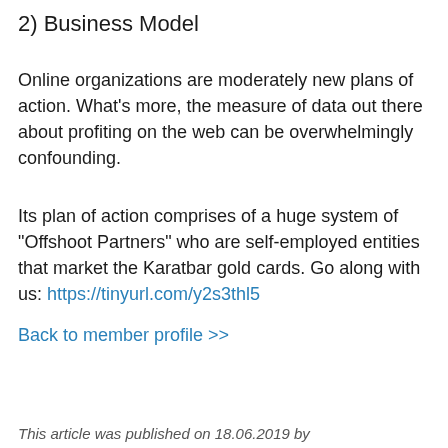2) Business Model
Online organizations are moderately new plans of action. What's more, the measure of data out there about profiting on the web can be overwhelmingly confounding.
Its plan of action comprises of a huge system of "Offshoot Partners" who are self-employed entities that market the Karatbar gold cards. Go along with us: https://tinyurl.com/y2s3thl5
Back to member profile >>
This article was published on 18.06.2019 by